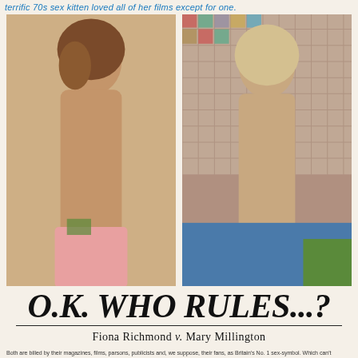terrific 70s sex kitten loved all of her films except for one.
[Figure (photo): Left photo: Fiona Richmond, a brunette woman posing topless wearing a pink skirt]
[Figure (photo): Right photo: Mary Millington, a blonde woman posing nude seated]
O.K. WHO RULES...?
Fiona Richmond v. Mary Millington
Both are billed by their magazines, films, parsons, publicists and, we suppose, their fans, as Britain's No. 1 sex-symbol. Which can't